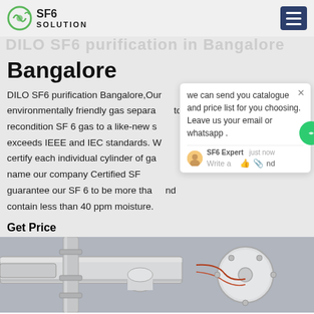SF6 SOLUTION
Bangalore
DILO SF6 purification Bangalore,Our environmentally friendly gas separation to recondition SF 6 gas to a like-new standard exceeds IEEE and IEC standards. We certify each individual cylinder of gas and name our company Certified SF6. We guarantee our SF 6 to be more than nd contain less than 40 ppm moisture.
Get Price
[Figure (photo): Industrial SF6 gas equipment with pipes and cylindrical tanks visible, industrial setting]